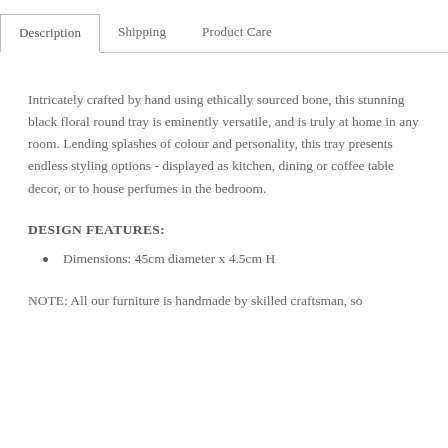Description | Shipping | Product Care
Intricately crafted by hand using ethically sourced bone, this stunning black floral round tray is eminently versatile, and is truly at home in any room. Lending splashes of colour and personality, this tray presents endless styling options - displayed as kitchen, dining or coffee table decor, or to house perfumes in the bedroom.
DESIGN FEATURES:
Dimensions: 45cm diameter x 4.5cm H
NOTE: All our furniture is handmade by skilled craftsman, so